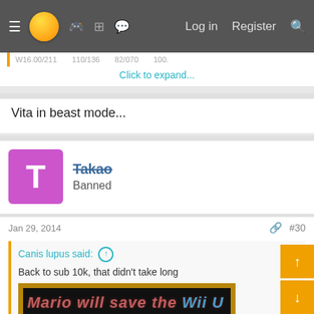Navigation bar with logo, game controller icon, grid icon, chat icon, Log in, Register, Search
Click to expand...
Vita in beast mode...
Takao
Banned
Jan 29, 2014
#30
Canis lupus said:
Back to sub 10k, that didn't take long
[Figure (photo): Chalkboard image with chalk text: 'Mario will save the Wii U' and 'ZombiU PRICEDROP!!!']